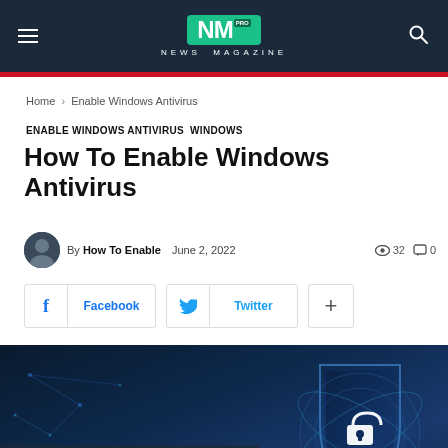NM PRO NEWS MAGAZINE
Home › Enable Windows Antivirus
ENABLE WINDOWS ANTIVIRUS  WINDOWS
How To Enable Windows Antivirus
By How To Enable  June 2, 2022  👁 32  💬 0
[Figure (screenshot): Social sharing buttons: Facebook, Twitter, and a plus/more button]
[Figure (photo): Hero image showing hands typing on a laptop keyboard with a digital security shield icon on the right, blue-toned cybersecurity themed photograph]